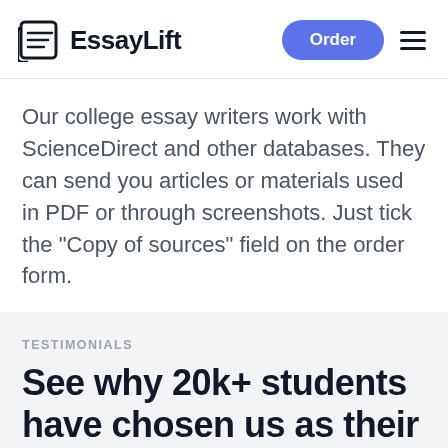EssayLift
Our college essay writers work with ScienceDirect and other databases. They can send you articles or materials used in PDF or through screenshots. Just tick the "Copy of sources" field on the order form.
TESTIMONIALS
See why 20k+ students have chosen us as their sole writing assistance provider